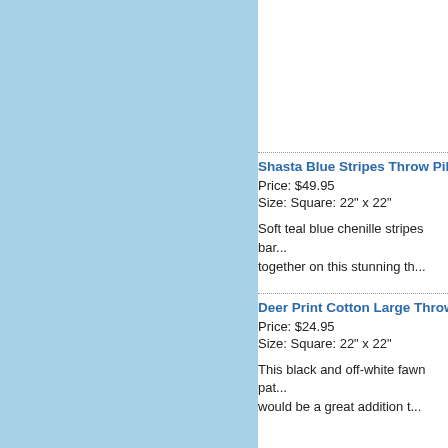[Figure (photo): Light blue product image panel on the left side]
Shasta Blue Stripes Throw Pill...
Price: $49.95
Size: Square: 22" x 22"
Soft teal blue chenille stripes bar... together on this stunning th...
Deer Print Cotton Large Throw...
Price: $24.95
Size: Square: 22" x 22"
This black and off-white fawn pat... would be a great addition t...